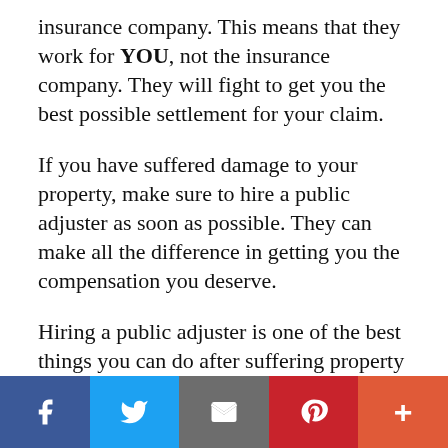insurance company. This means that they work for YOU, not the insurance company. They will fight to get you the best possible settlement for your claim.
If you have suffered damage to your property, make sure to hire a public adjuster as soon as possible. They can make all the difference in getting you the compensation you deserve.
Hiring a public adjuster is one of the best things you can do after suffering property damage. They are experts in insurance law and will fight to get you the best possible settlement. If you have any questions about filing a claim...
[Figure (other): Social media sharing bar with Facebook, Twitter, Email, Pinterest, and More buttons]